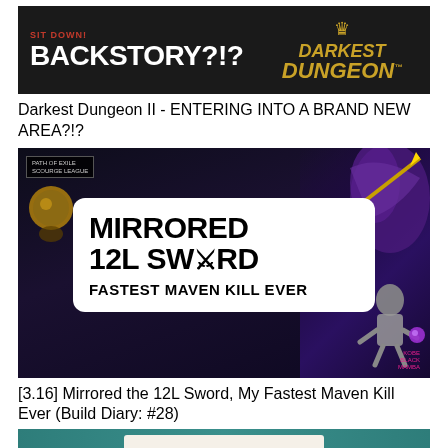[Figure (screenshot): Darkest Dungeon II YouTube thumbnail with text BACKSTORY?!? and Darkest Dungeon logo on dark background]
Darkest Dungeon II - ENTERING INTO A BRAND NEW AREA?!?
[Figure (screenshot): Path of Exile Scourge League YouTube thumbnail showing white box with text MIRRORED 12L SWORD FASTEST MAVEN KILL EVER on dark mystical background]
[3.16] Mirrored the 12L Sword, My Fastest Maven Kill Ever (Build Diary: #28)
[Figure (screenshot): Partial thumbnail with teal/green background, partially visible]